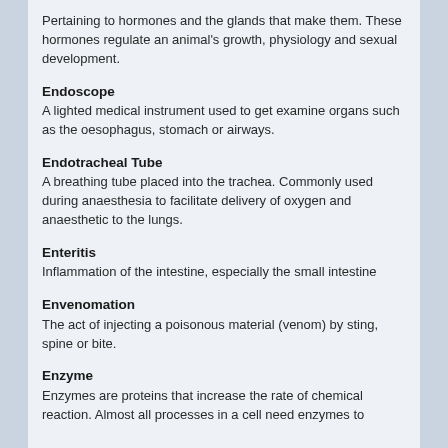Pertaining to hormones and the glands that make them. These hormones regulate an animal's growth, physiology and sexual development.
Endoscope
A lighted medical instrument used to get examine organs such as the oesophagus, stomach or airways.
Endotracheal Tube
A breathing tube placed into the trachea. Commonly used during anaesthesia to facilitate delivery of oxygen and anaesthetic to the lungs.
Enteritis
Inflammation of the intestine, especially the small intestine
Envenomation
The act of injecting a poisonous material (venom) by sting, spine or bite.
Enzyme
Enzymes are proteins that increase the rate of chemical reaction. Almost all processes in a cell need enzymes to